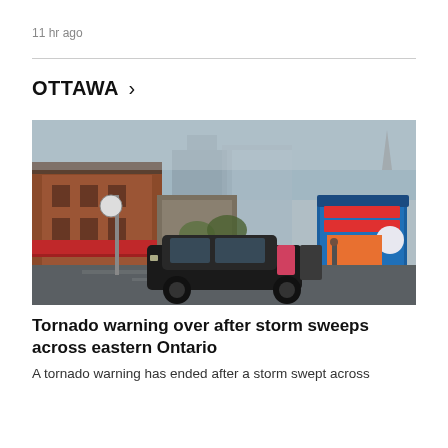11 hr ago
OTTAWA >
[Figure (photo): A rainy street scene in Ottawa's ByWard Market area showing brick buildings, red awnings, a blue food kiosk, a black SUV on wet pavement, and an overcast sky.]
Tornado warning over after storm sweeps across eastern Ontario
A tornado warning has ended after a storm swept across